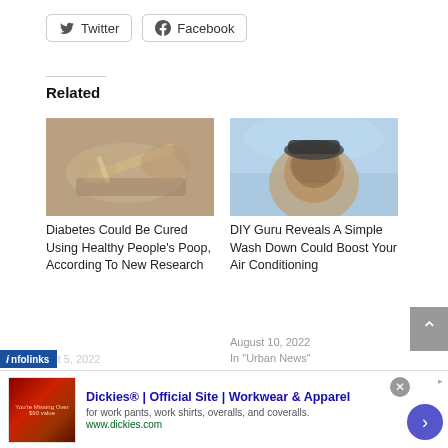[Figure (screenshot): Twitter social share button with bird icon]
[Figure (screenshot): Facebook social share button with f icon]
Related
[Figure (photo): Hands holding a syringe/medical device – related to diabetes article]
Diabetes Could Be Cured Using Healthy People's Poop, According To New Research
August 5, 2022
[Figure (photo): Man's face close-up – related to DIY Guru air conditioning article]
DIY Guru Reveals A Simple Wash Down Could Boost Your Air Conditioning
August 10, 2022
In "Urban News"
[Figure (screenshot): Infolinks advertisement label overlay]
[Figure (screenshot): Dickies ad banner: Dickies® | Official Site | Workwear & Apparel – for work pants, work shirts, overalls, and coveralls. www.dickies.com]